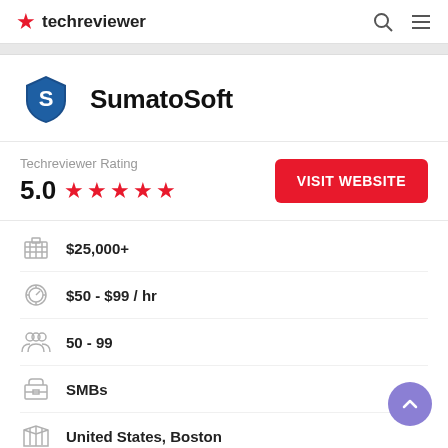techreviewer
[Figure (logo): SumatoSoft company logo — blue shield with letter S]
SumatoSoft
Techreviewer Rating
5.0 ★★★★★
VISIT WEBSITE
$25,000+
$50 - $99 / hr
50 - 99
SMBs
United States, Boston